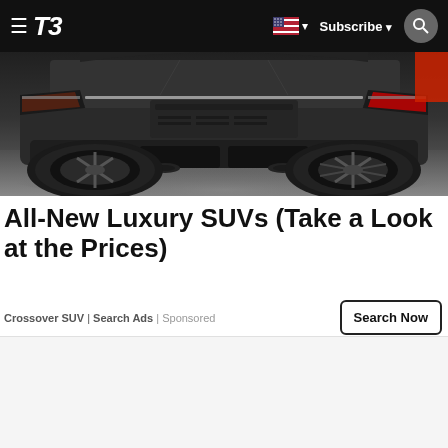T3 — Subscribe
[Figure (photo): Rear view of a dark/grey luxury SUV concept car, low angle, showing the rear bumper, taillight design, and large alloy wheel. Red accent visible on the right side. Dark moody background.]
All-New Luxury SUVs (Take a Look at the Prices)
Crossover SUV | Search Ads | Sponsored — Search Now